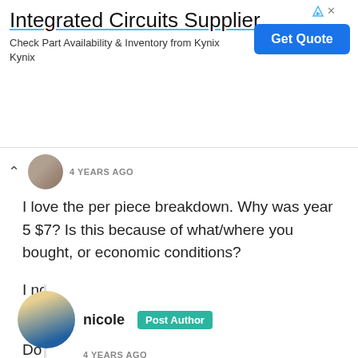[Figure (other): Advertisement banner: Integrated Circuits Supplier - Check Part Availability & Inventory from Kynix Kynix, with a blue 'Get Quote' button and ad icons]
4 YEARS AGO
I love the per piece breakdown. Why was year 5 $7? Is this because of what/where you bought, or economic conditions?

I noticed a few years ago Goodwill prices jumping up.

Do you think $6 per piece is the new $5?
nicole  Post Author
4 YEARS AGO